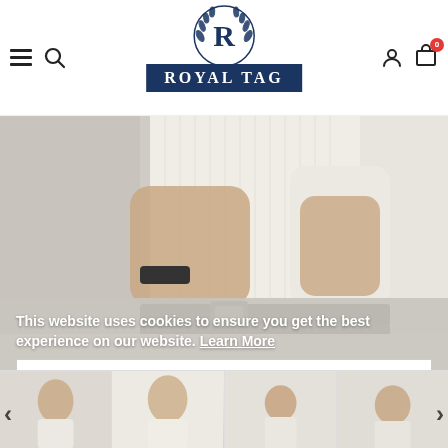[Figure (logo): Royal Tag brand logo: circular laurel wreath emblem with R letter above navy blue rectangular badge reading ROYAL TAG]
[Figure (photo): Man in white/cream striped dress shirt adjusting cufflinks, wearing black belt and dark trousers, torso and hands visible]
This website uses cookies to ensure you get the best experience on our website. Learn More
[Figure (screenshot): Got it! cookie consent button]
[Figure (photo): Four thumbnail images of men in formal shirts at bottom of page]